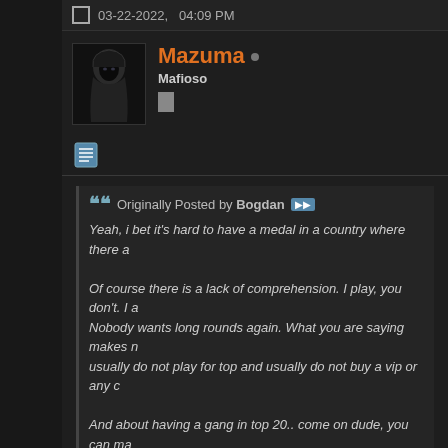03-22-2022, 04:09 PM
Mazuma • Mafioso
Originally Posted by Bogdan
Yeah, i bet it's hard to have a medal in a country where there a...

Of course there is a lack of comprehension. I play, you don't. I a... Nobody wants long rounds again. What you are saying makes n... usually do not play for top and usually do not buy a vip or any c...

And about having a gang in top 20.. come on dude, you can ma...
Dude, how can you say that I dont play ?! ... I played EVERY SINGLE trough every change, and am still buying VIPs and supporting TC. Im saying that just as we get some stats and money to enjoy and do so...

There used to be many players in Serbia. Im sorry there arent mo...